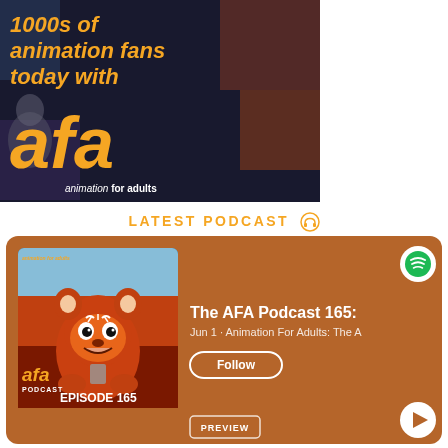[Figure (illustration): AFA (Animation For Adults) promotional banner with dark background showing animated characters, large orange italic text reading '1000s of animation fans today with afa' and tagline 'animation for adults']
LATEST PODCAST
[Figure (screenshot): Spotify podcast card with brown/orange background showing AFA Podcast Episode 165 thumbnail (red panda character from Turning Red), title 'The AFA Podcast 165:', date 'Jun 1 · Animation For Adults: The A', Follow button, and PREVIEW button with play icon. Spotify logo in top right.]